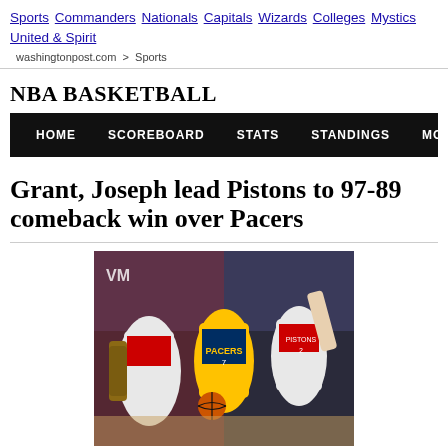Sports | Commanders | Nationals | Capitals | Wizards | Colleges | Mystics | United & Spirit
washingtonpost.com > Sports
NBA BASKETBALL
HOME   SCOREBOARD   STATS   STANDINGS   MORE...
Grant, Joseph lead Pistons to 97-89 comeback win over Pacers
[Figure (photo): Basketball game photo showing a Pacers player in yellow jersey driving with the ball between two Pistons defenders in white and red uniforms]